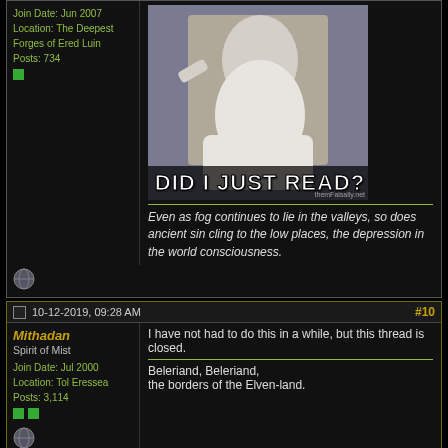[Figure (photo): Forum post top section showing user sidebar with join date Jun 2007, Location The Deepest Forges of Ered Luin, Posts 734, and a meme image of Gandalf with text DID I JUST READ?]
Even as fog continues to lie in the valleys, so does ancient sin cling to the low places, the depression in the world consciousness.
10-12-2019, 09:28 AM  #10
Mithadan
Spirit of Mist
Join Date: Jul 2000
Location: Tol Eressea
Posts: 3,114
I have not had to do this in a while, but this thread is closed.

Beleriand, Beleriand,
the borders of the Elven-land.
[Figure (screenshot): Closed thread button with lock icon and text Closed]